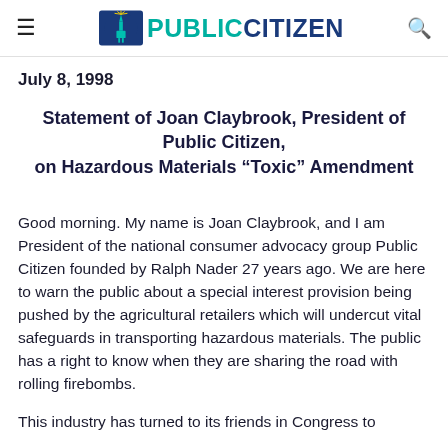PUBLIC CITIZEN
July 8, 1998
Statement of Joan Claybrook, President of Public Citizen,
on Hazardous Materials “Toxic” Amendment
Good morning. My name is Joan Claybrook, and I am President of the national consumer advocacy group Public Citizen founded by Ralph Nader 27 years ago. We are here to warn the public about a special interest provision being pushed by the agricultural retailers which will undercut vital safeguards in transporting hazardous materials. The public has a right to know when they are sharing the road with rolling firebombs.
This industry has turned to its friends in Congress to